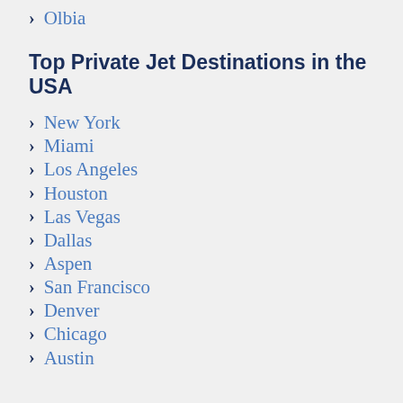Olbia
Top Private Jet Destinations in the USA
New York
Miami
Los Angeles
Houston
Las Vegas
Dallas
Aspen
San Francisco
Denver
Chicago
Austin